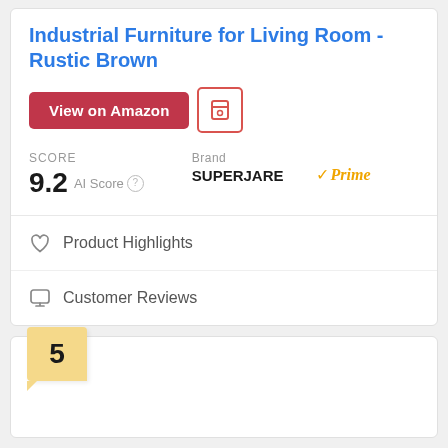Industrial Furniture for Living Room - Rustic Brown
View on Amazon
SCORE 9.2 AI Score | Brand SUPERJARE | Prime
Product Highlights
Customer Reviews
5